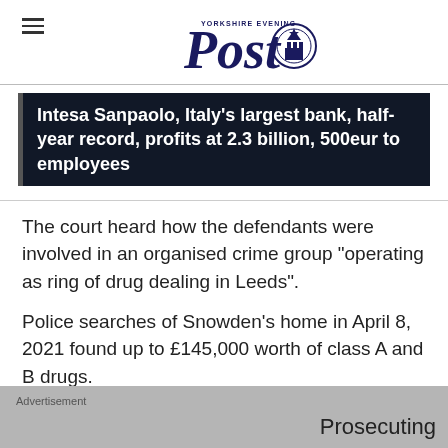Yorkshire Evening Post
Intesa Sanpaolo, Italy's largest bank, half-year record, profits at 2.3 billion, 500eur to employees
The court heard how the defendants were involved in an organised crime group "operating as ring of drug dealing in Leeds".
Police searches of Snowden's home in April 8, 2021 found up to £145,000 worth of class A and B drugs.
Prosecuting